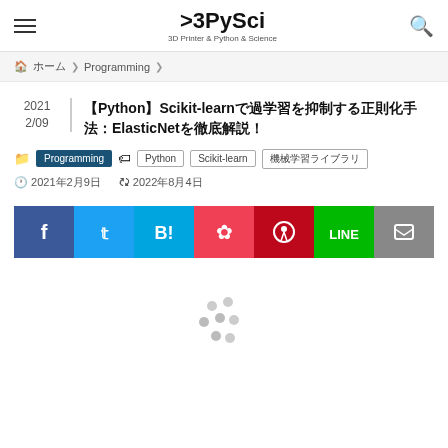>3PySci — 3D Printer & Python & Science
ホーム > Programming >
【Python】Scikit-learnで過学習を抑制する正則化手法：ElasticNetを徹底解説！
Programming | Python | Scikit-learn | 機械学習ライブラリ
2021年2月9日  2022年8月4日